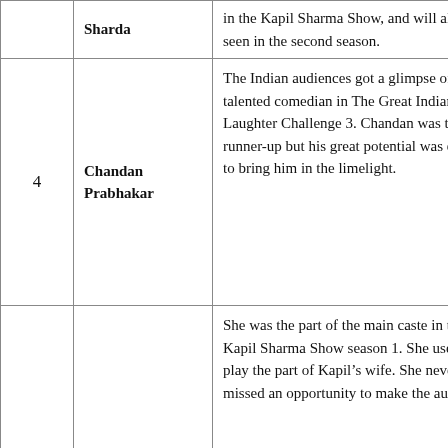| # | Name | Description |
| --- | --- | --- |
|  | Sharda | in the Kapil Sharma Show, and will also be seen in the second season. |
| 4 | Chandan Prabhakar | The Indian audiences got a glimpse of another talented comedian in The Great Indian Laughter Challenge 3. Chandan was the first runner-up but his great potential was enough to bring him in the limelight. |
| 5 | Sumona | She was the part of the main caste in the Kapil Sharma Show season 1. She use the play the part of Kapil’s wife. She never missed an opportunity to make the audiences |